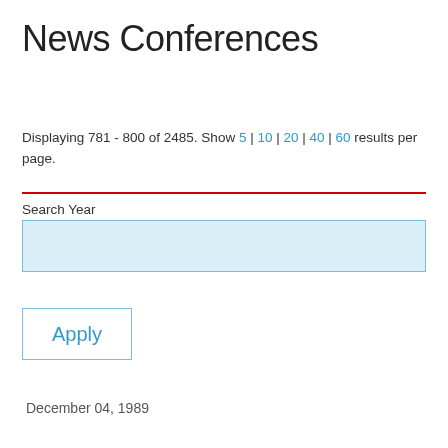News Conferences
Displaying 781 - 800 of 2485. Show 5 | 10 | 20 | 40 | 60 results per page.
Search Year
Apply
December 04, 1989